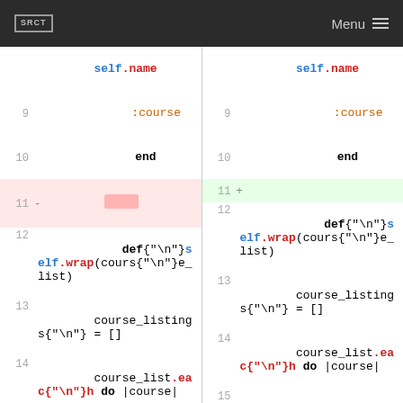SRCT | Menu
[Figure (screenshot): Side-by-side code diff view showing Ruby code. Left panel (old) and right panel (new) with line numbers 9-17. Line 11 is deleted on left (pink highlight) and added as empty on right (green). Lines 9-10 and 12-17 show matching code including self.name :course, end, def self.wrap(course_list), course_listings = [], course_list.each do |course|, course_listings.push(CourseListing.new(course)), end.]